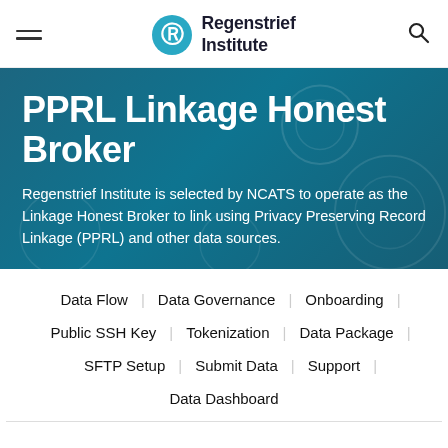Regenstrief Institute
PPRL Linkage Honest Broker
Regenstrief Institute is selected by NCATS to operate as the Linkage Honest Broker to link using Privacy Preserving Record Linkage (PPRL) and other data sources.
Data Flow
Data Governance
Onboarding
Public SSH Key
Tokenization
Data Package
SFTP Setup
Submit Data
Support
Data Dashboard